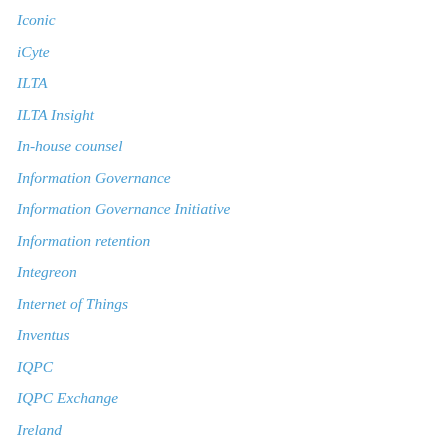Iconic
iCyte
ILTA
ILTA Insight
In-house counsel
Information Governance
Information Governance Initiative
Information retention
Integreon
Internet of Things
Inventus
IQPC
IQPC Exchange
Ireland
Iris Data Services
Jackson Reforms
Judges
KCura
KPMG
Kroll